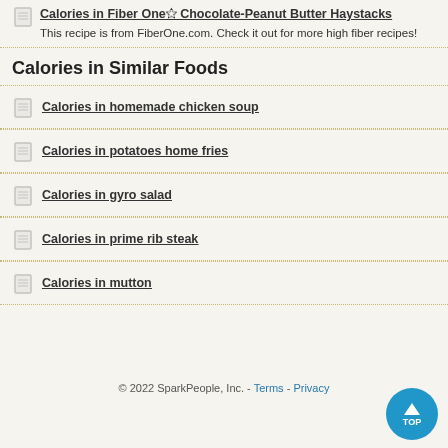Calories in Fiber One® Chocolate-Peanut Butter Haystacks
This recipe is from FiberOne.com. Check it out for more high fiber recipes!
Calories in Similar Foods
Calories in homemade chicken soup
Calories in potatoes home fries
Calories in gyro salad
Calories in prime rib steak
Calories in mutton
© 2022 SparkPeople, Inc. - Terms - Privacy